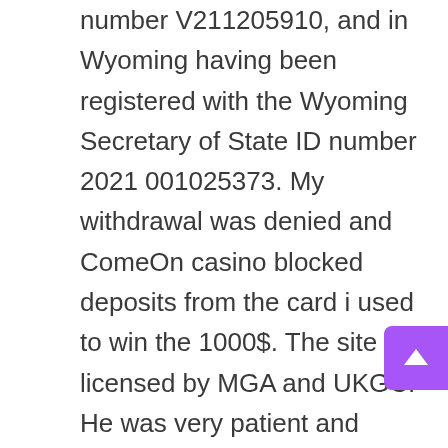number V211205910, and in Wyoming having been registered with the Wyoming Secretary of State ID number 2021 001025373. My withdrawal was denied and ComeOn casino blocked deposits from the card i used to win the 1000$. The site is licensed by MGA and UKGC. He was very patient and explained everything in detail which made the task very simple. Cricket use can be a blessing in disguise for online sportsbook bettors. I most certainly will make sure to don't forget this website and give it a glance regularly. Daffabet Poker is one of the traditional and most accepted online betting trademarks that combine casinos, sportsbooks, and online poker games in its medium. This can certainly help you to make a rather confident bets. The Join Now link in the top right corner leads to the registration form, which asks for your contact information. Consultation now active on extending the council's